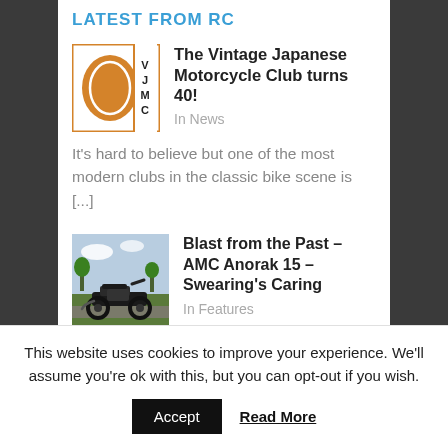LATEST FROM RC
The Vintage Japanese Motorcycle Club turns 40!
In News
It's hard to believe but one of the most modern clubs in the classic bike scene is [...]
[Figure (logo): VJMC logo with orange oval on white background with orange border, letters V J M C on right side]
Blast from the Past – AMC Anorak 15 – Swearing's Caring
In Features
[Figure (photo): Photo of a vintage motorcycle (AMC/classic British motorcycle) parked outdoors with trees in background]
This website uses cookies to improve your experience. We'll assume you're ok with this, but you can opt-out if you wish.
Accept
Read More